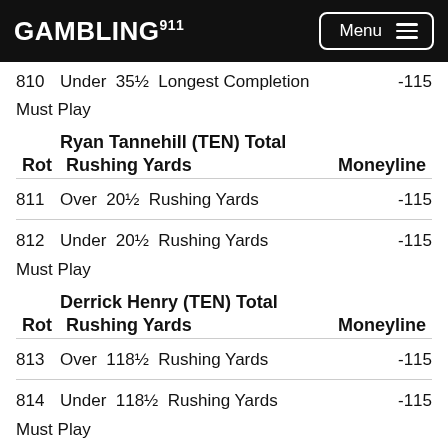GAMBLING911 Menu
810  Under  35½  Longest Completion  -115
Must Play
| Rot | Ryan Tannehill (TEN) Total Rushing Yards | Moneyline |
| --- | --- | --- |
| 811 | Over  20½  Rushing Yards | -115 |
| 812 | Under  20½  Rushing Yards | -115 |
Must Play
| Rot | Derrick Henry (TEN) Total Rushing Yards | Moneyline |
| --- | --- | --- |
| 813 | Over  118½  Rushing Yards | -115 |
| 814 | Under  118½  Rushing Yards | -115 |
Must Play